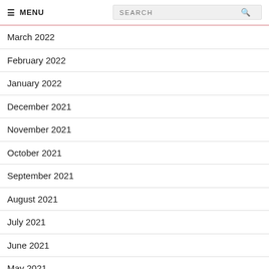MENU | SEARCH
March 2022
February 2022
January 2022
December 2021
November 2021
October 2021
September 2021
August 2021
July 2021
June 2021
May 2021